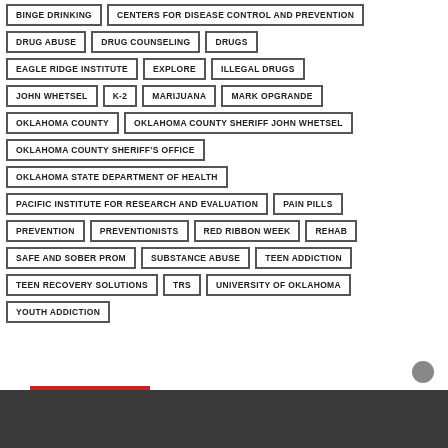BINGE DRINKING
CENTERS FOR DISEASE CONTROL AND PREVENTION
DRUG ABUSE
DRUG COUNSELING
DRUGS
EAGLE RIDGE INSTITUTE
EXPLORE
ILLEGAL DRUGS
JOHN WHETSEL
K-2
MARIJUANA
MARK OPGRANDE
OKLAHOMA COUNTY
OKLAHOMA COUNTY SHERIFF JOHN WHETSEL
OKLAHOMA COUNTY SHERIFF'S OFFICE
OKLAHOMA STATE DEPARTMENT OF HEALTH
PACIFIC INSTITUTE FOR RESEARCH AND EVALUATION
PAIN PILLS
PREVENTION
PREVENTIONISTS
RED RIBBON WEEK
REHAB
SAFE AND SOBER PROM
SUBSTANCE ABUSE
TEEN ADDICTION
TEEN RECOVERY SOLUTIONS
TRS
UNIVERSITY OF OKLAHOMA
YOUTH ADDICTION